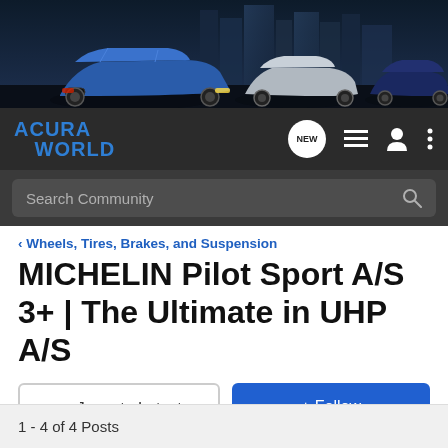[Figure (photo): Acura World forum banner showing three Acura cars (blue TL, silver sedan, dark Integra) against a city night skyline background]
[Figure (logo): Acura World forum logo in blue on dark background, with navigation icons: NEW speech bubble, list icon, user icon, dots menu icon]
Search Community
< Wheels, Tires, Brakes, and Suspension
MICHELIN Pilot Sport A/S 3+ | The Ultimate in UHP A/S
→ Jump to Latest
+ Follow
1 - 4 of 4 Posts